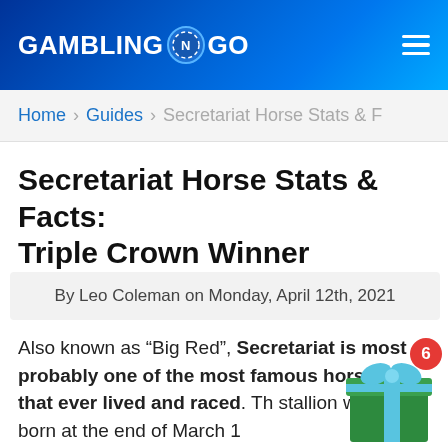GAMBLING N GO
Home > Guides > Secretariat Horse Stats & F
Secretariat Horse Stats & Facts: Triple Crown Winner
By Leo Coleman on Monday, April 12th, 2021
Also known as “Big Red”, Secretariat is most probably one of the most famous horses that ever lived and raced. The stallion was born at the end of March 1